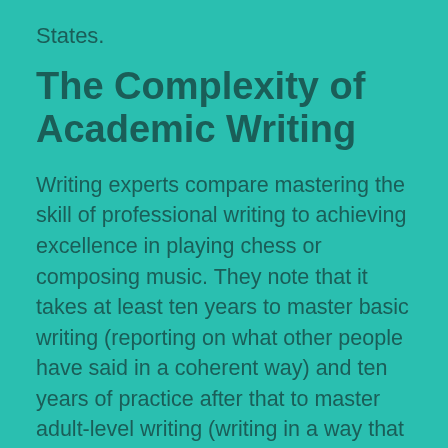States.
The Complexity of Academic Writing
Writing experts compare mastering the skill of professional writing to achieving excellence in playing chess or composing music. They note that it takes at least ten years to master basic writing (reporting on what other people have said in a coherent way) and ten years of practice after that to master adult-level writing (writing in a way that restructures and reorganizes knowledge to suit a specific purpose). (Kellogg 2006).